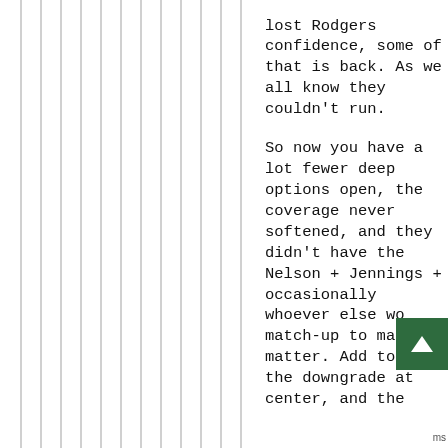[Figure (other): Left portion of page showing vertical gray stripes on white background, resembling a decorative or watermark column element.]
lost Rodgers confidence, some of that is back. As we all know they couldn't run.

So now you have a lot fewer deep options open, the coverage never softened, and they didn't have the Nelson + Jennings + occasionally whoever else wo match-up to ma not matter. Add to this the downgrade at center, and the